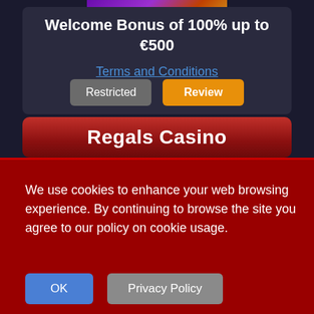[Figure (screenshot): Casino game banner image with purple and gold tones at the top of the card]
Welcome Bonus of 100% up to €500
Terms and Conditions
Restricted
Review
Regals Casino
We use cookies to enhance your web browsing experience. By continuing to browse the site you agree to our policy on cookie usage.
OK
Privacy Policy